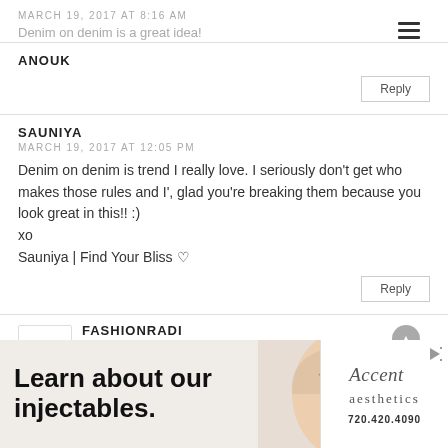MARCH 19, 2017 AT 8:16 AM
Denim on denim is a great idea!
Reply
SAUNIYA
MARCH 19, 2017 AT 12:05 PM
Denim on denim is trend I really love. I seriously don't get who makes those rules and I', glad you're breaking them because you look great in this!! :)
xo
Sauniya | Find Your Bliss ♡
Reply
FASHIONRADI
MARCH 22, 2017 AT 7:55 PM
[Figure (infographic): Advertisement banner for Accent Aesthetics featuring 'Learn about our injectables.' text, a woman's face, logo and phone number 720.420.4090]